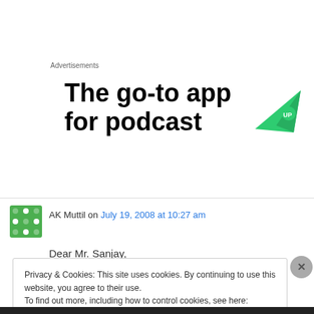Advertisements
[Figure (screenshot): Advertisement banner showing 'The go-to app for podcast' with a green paper airplane icon on the right]
AK Muttil on July 19, 2008 at 10:27 am
Dear Mr. Sanjay,
Privacy & Cookies: This site uses cookies. By continuing to use this website, you agree to their use.
To find out more, including how to control cookies, see here: Cookie Policy
Close and accept